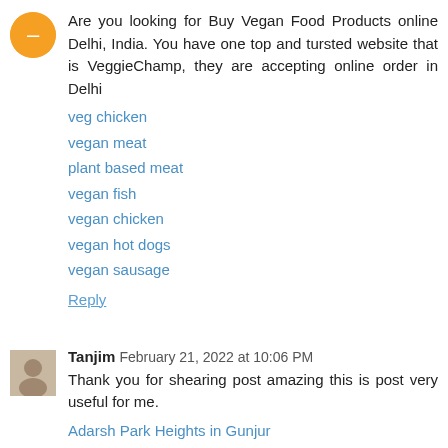Are you looking for Buy Vegan Food Products online Delhi, India. You have one top and tursted website that is VeggieChamp, they are accepting online order in Delhi
veg chicken
vegan meat
plant based meat
vegan fish
vegan chicken
vegan hot dogs
vegan sausage
Reply
Tanjim  February 21, 2022 at 10:06 PM
Thank you for shearing post amazing this is post very useful for me.
Adarsh Park Heights in Gunjur
Adarsh Park Heights
Adarsh Park Heights price
The Prestige Properties
Adarsh Property